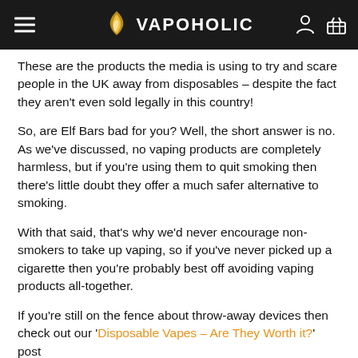VAPOHOLIC
These are the products the media is using to try and scare people in the UK away from disposables – despite the fact they aren't even sold legally in this country!
So, are Elf Bars bad for you? Well, the short answer is no. As we've discussed, no vaping products are completely harmless, but if you're using them to quit smoking then there's little doubt they offer a much safer alternative to smoking.
With that said, that's why we'd never encourage non-smokers to take up vaping, so if you've never picked up a cigarette then you're probably best off avoiding vaping products all-together.
If you're still on the fence about throw-away devices then check out our 'Disposable Vapes – Are They Worth it?' post